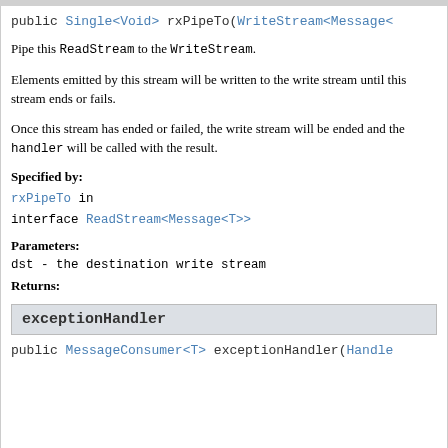public Single<Void> rxPipeTo(WriteStream<Message<
Pipe this ReadStream to the WriteStream.
Elements emitted by this stream will be written to the write stream until this stream ends or fails.
Once this stream has ended or failed, the write stream will be ended and the handler will be called with the result.
Specified by:
rxPipeTo in interface ReadStream<Message<T>>
Parameters:
dst - the destination write stream
Returns:
exceptionHandler
public MessageConsumer<T> exceptionHandler(Handle